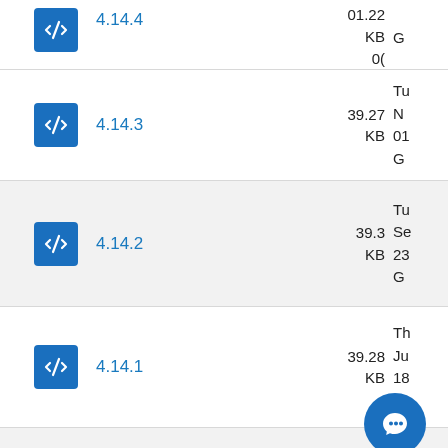4.14.4 — KB, 00, Gi (partial, cropped top)
4.14.3 — 39.27 KB, Tu N 01 Gi
4.14.2 — 39.3 KB, Tu Se 23 Gi
4.14.1 — 39.28 KB, Th Ju 18 Gi
M... (partial, cropped bottom)